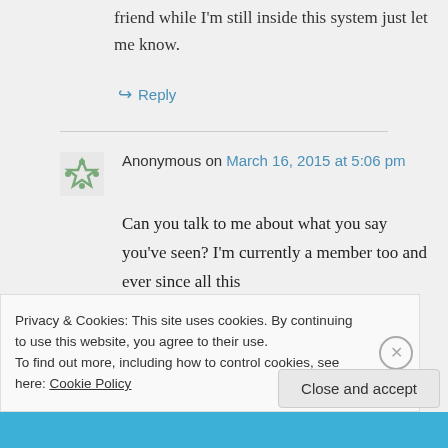friend while I'm still inside this system just let me know.
↪ Reply
Anonymous on March 16, 2015 at 5:06 pm
Can you talk to me about what you say you've seen? I'm currently a member too and ever since all this
Privacy & Cookies: This site uses cookies. By continuing to use this website, you agree to their use.
To find out more, including how to control cookies, see here: Cookie Policy
Close and accept